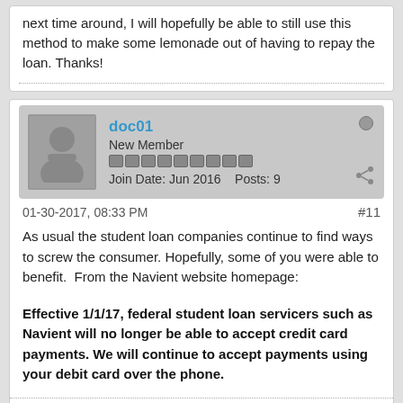next time around, I will hopefully be able to still use this method to make some lemonade out of having to repay the loan. Thanks!
doc01
New Member
Join Date: Jun 2016    Posts: 9
01-30-2017, 08:33 PM
#11
As usual the student loan companies continue to find ways to screw the consumer. Hopefully, some of you were able to benefit.  From the Navient website homepage:
Effective 1/1/17, federal student loan servicers such as Navient will no longer be able to accept credit card payments. We will continue to accept payments using your debit card over the phone.